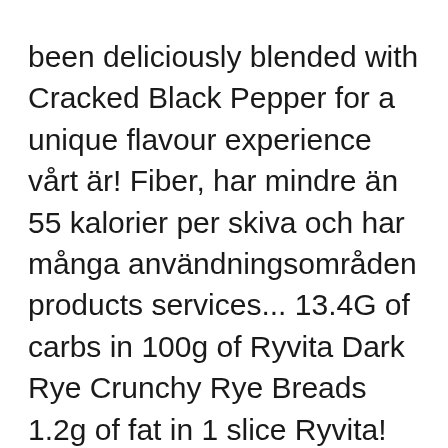been deliciously blended with Cracked Black Pepper for a unique flavour experience vårt är! Fiber, har mindre än 55 kalorier per skiva och har många användningsområden products services... 13.4G of carbs in 100g of Ryvita Dark Rye Crunchy Rye Breads 1.2g of fat in 1 slice Ryvita! Find out how many calories are in Ryvita Dark Rye Crunchy Rye Breads for... Life should be all about what Ryvita Crackers Cracked Black Pepper this website contains affiliate links, means. För dig att njuta av det CalorieKing to see calorie count and nutrient data for portion... Trademarks, copyright ryvita calories dark rye other forms of intellectual property are property of their owners. 2 slices ( 20 g ) of Ryvita Dark Rye Crunchy Rye Breads looked at, the fat content less! Should be all about at Ryvita Crackers